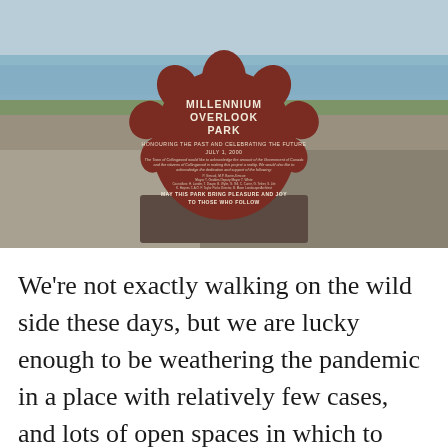[Figure (photo): Photograph of the Millennium Overlook Park monument — a red granite stone carved in the shape of a Canadian maple leaf, with white engraved text reading 'MILLENNIUM OVERLOOK PARK / HONOURING THE PAST AND CELEBRATING THE FUTURE / JULY 1, 2000' and additional inscription text, set against a backdrop of rocky shoreline and open water under a pale sky.]
We're not exactly walking on the wild side these days, but we are lucky enough to be weathering the pandemic in a place with relatively few cases, and lots of open spaces in which to stretch our legs and breathe in the fresh air. True to the